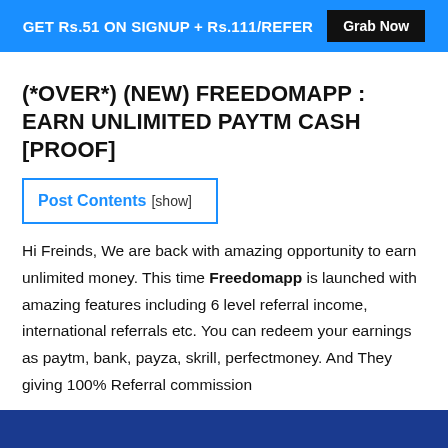GET Rs.51 ON SIGNUP + Rs.111/REFER   Grab Now
(*OVER*) (NEW) FREEDOMAPP : EARN UNLIMITED PAYTM CASH [PROOF]
Post Contents [show]
Hi Freinds, We are back with amazing opportunity to earn unlimited money. This time Freedomapp is launched with amazing features including 6 level referral income, international referrals etc. You can redeem your earnings as paytm, bank, payza, skrill, perfectmoney. And They giving 100% Referral commission
[Figure (other): Blue bar at the bottom of the page]